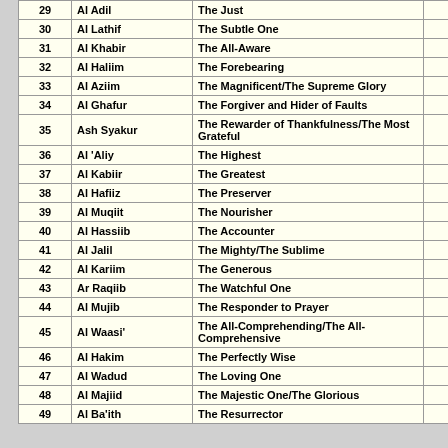| # | Name | Meaning |  |
| --- | --- | --- | --- |
| 29 | Al Adil | The Just |  |
| 30 | Al Lathif | The Subtle One |  |
| 31 | Al Khabir | The All-Aware |  |
| 32 | Al Haliim | The Forebearing |  |
| 33 | Al Aziim | The Magnificent/The Supreme Glory |  |
| 34 | Al Ghafur | The Forgiver and Hider of Faults |  |
| 35 | Ash Syakur | The Rewarder of Thankfulness/The Most Grateful |  |
| 36 | Al 'Aliy | The Highest |  |
| 37 | Al Kabiir | The Greatest |  |
| 38 | Al Hafiiz | The Preserver |  |
| 39 | Al Muqiit | The Nourisher |  |
| 40 | Al Hassiib | The Accounter |  |
| 41 | Al Jalil | The Mighty/The Sublime |  |
| 42 | Al Kariim | The Generous |  |
| 43 | Ar Raqiib | The Watchful One |  |
| 44 | Al Mujib | The Responder to Prayer |  |
| 45 | Al Waasi' | The All-Comprehending/The All-Comprehensive |  |
| 46 | Al Hakim | The Perfectly Wise |  |
| 47 | Al Wadud | The Loving One |  |
| 48 | Al Majiid | The Majestic One/The Glorious |  |
| 49 | Al Ba'ith | The Resurrector |  |